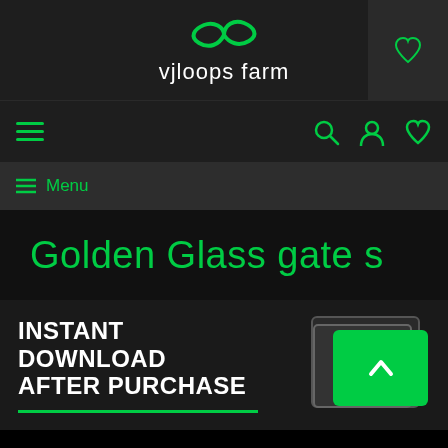[Figure (logo): vjloops farm logo with green infinity symbol and white text 'vjloops farm']
[Figure (screenshot): Navigation bar with green hamburger menu icon on left and search, user, heart icons on right in dark theme]
[Figure (screenshot): Menu bar with hamburger icon and 'Menu' text in green]
Golden Glass gate s
INSTANT DOWNLOAD AFTER PURCHASE
[Figure (screenshot): Green download/card icon with upward chevron arrow]